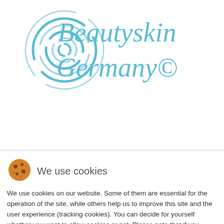[Figure (logo): Beautyskin Germany logo with swirl graphic in blue and teal cursive text]
[Figure (illustration): UK and German flag icons for language selection, and a dark gray hamburger menu button]
We use cookies
We use cookies on our website. Some of them are essential for the operation of the site, while others help us to improve this site and the user experience (tracking cookies). You can decide for yourself whether you want to allow cookies or not. Please note that if you reject them, you may not be able to use all the functionalities of the site.
Ok
Decline
More information | Imprint